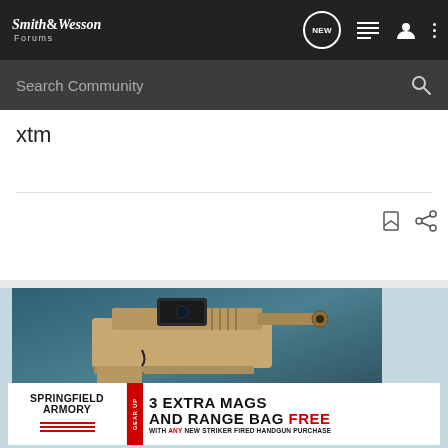Smith & Wesson Forums
Search Community
xtm
[Figure (screenshot): Screenshot of Smith & Wesson Forums website showing navigation bar, search bar, and xtm search text, along with a Springfield Armory advertisement featuring a handgun and text '3 EXTRA MAGS AND RANGE BAG FREE WITH ANY NEW STRIKER FIRED HANDGUN PURCHASE']